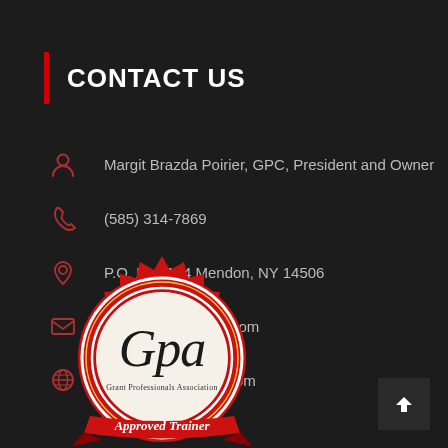CONTACT US
Margit Brazda Poirier, GPC, President and Owner
(585) 314-7869
P.O. Box 114 Mendon, NY 14506
info@grants4good.com
www.grants4good.com
[Figure (logo): GPA Grant Professionals Association Approved Trainer red seal badge with stylized 'Gpa' script lettering]